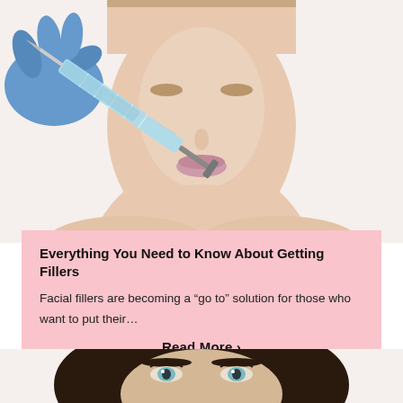[Figure (photo): Close-up photo of a woman's face on white background, with a gloved hand holding a syringe injecting into her cheek area near the nose.]
Everything You Need to Know About Getting Fillers
Facial fillers are becoming a “go to” solution for those who want to put their…
Read More ›
[Figure (photo): Close-up photo of a dark-haired woman's face, looking forward with blue/green eyes.]